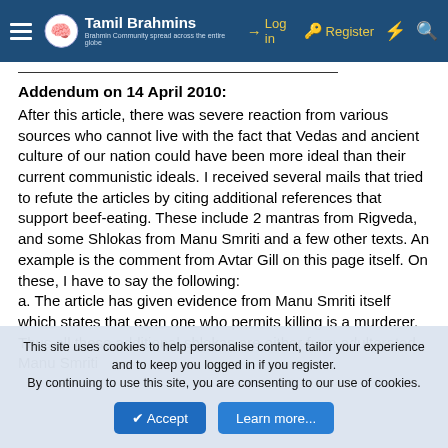Tamil Brahmins — Log in | Register
Addendum on 14 April 2010:
After this article, there was severe reaction from various sources who cannot live with the fact that Vedas and ancient culture of our nation could have been more ideal than their current communistic ideals. I received several mails that tried to refute the articles by citing additional references that support beef-eating. These include 2 mantras from Rigveda, and some Shlokas from Manu Smriti and a few other texts. An example is the comment from Avtar Gill on this page itself. On these, I have to say the following:
a. The article has given evidence from Manu Smriti itself which states that even one who permits killing is a murderer. Thus all these additional shlokas are either from adulterated Manu Smriti
This site uses cookies to help personalise content, tailor your experience and to keep you logged in if you register.
By continuing to use this site, you are consenting to our use of cookies.